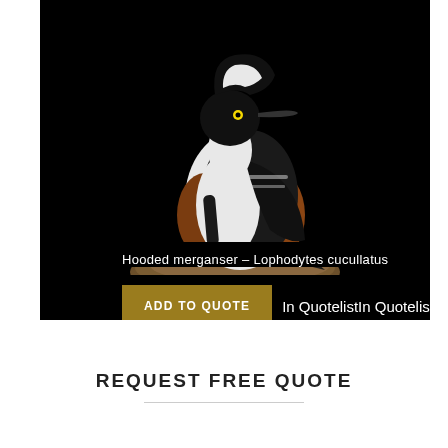[Figure (photo): A hooded merganser bird (Lophodytes cucullatus) perched on a piece of wood/rock against a black background. The bird has distinctive black and white plumage with a brown/rust body and a crest on its head.]
Hooded merganser – Lophodytes cucullatus
ADD TO QUOTE
In QuotelistIn Quotelist
REQUEST FREE QUOTE